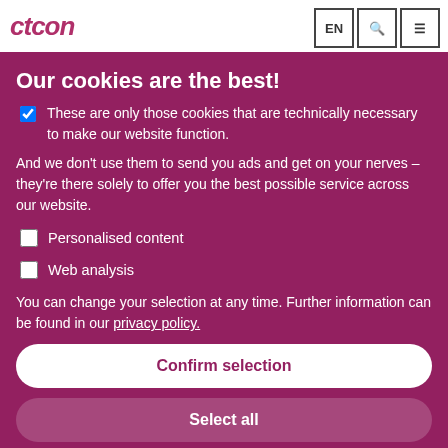ctcon | EN | Search | Menu
Our cookies are the best!
These are only those cookies that are technically necessary to make our website function.
And we don't use them to send you ads and get on your nerves – they're there solely to offer you the best possible service across our website.
Personalised content
Web analysis
You can change your selection at any time. Further information can be found in our privacy policy.
Confirm selection
Select all